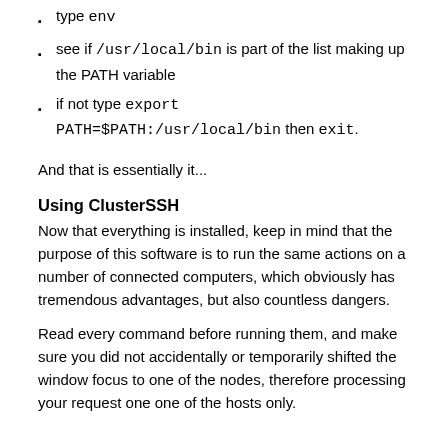type env
see if /usr/local/bin is part of the list making up the PATH variable
if not type export PATH=$PATH:/usr/local/bin then exit.
And that is essentially it...
Using ClusterSSH
Now that everything is installed, keep in mind that the purpose of this software is to run the same actions on a number of connected computers, which obviously has tremendous advantages, but also countless dangers.
Read every command before running them, and make sure you did not accidentally or temporarily shifted the window focus to one of the nodes, therefore processing your request one one of the hosts only.